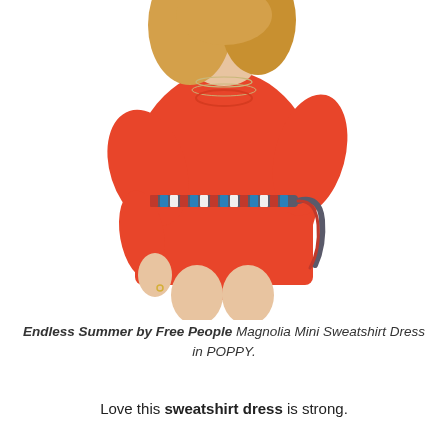[Figure (photo): A woman wearing a red/coral oversized sweatshirt mini dress with a multicolored woven belt tied at the waist. She has long blonde hair and is wearing layered necklaces. The background is white.]
Endless Summer by Free People Magnolia Mini Sweatshirt Dress in POPPY.
Love this sweatshirt dress is strong.